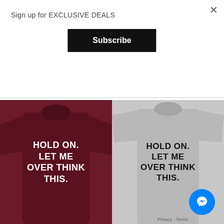Sign up for EXCLUSIVE DEALS
×
Subscribe
Starting Price: $15.00
Select options
Select options
[Figure (photo): Maroon long-sleeve sweatshirt with text HOLD ON. LET ME OVER THINK THIS.]
[Figure (photo): Gray t-shirt with text HOLD ON. LET ME OVER THINK THIS.]
Privacy · Terms